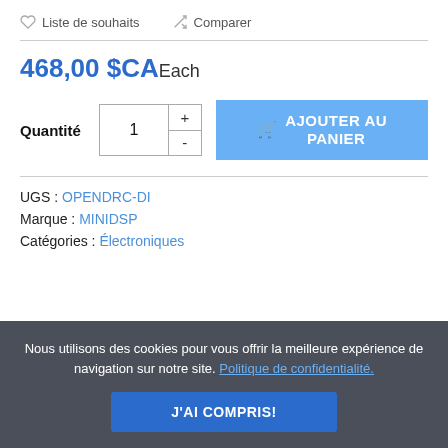♡ Liste de souhaits   ⇄ Comparer
468,00 $CA Each
Quantité  1  +  -  AJOUTER AU PANIER
UGS : OPENDRC-DI
Marque : MINIDSP
Catégories : Électroniques
Nous utilisons des cookies pour vous offrir la meilleure expérience de navigation sur notre site. Politique de confidentialité.
J'AI COMPRIS!